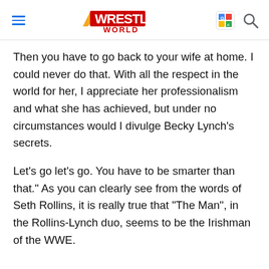Wrestling World
Then you have to go back to your wife at home. I could never do that. With all the respect in the world for her, I appreciate her professionalism and what she has achieved, but under no circumstances would I divulge Becky Lynch's secrets.
Let's go let's go. You have to be smarter than that." As you can clearly see from the words of Seth Rollins, it is really true that "The Man", in the Rollins-Lynch duo, seems to be the Irishman of the WWE.